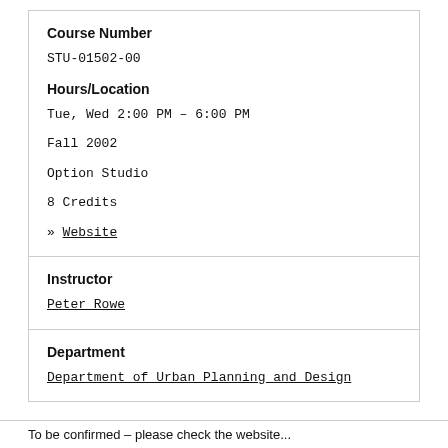Course Number
STU-01502-00
Hours/Location
Tue, Wed 2:00 PM – 6:00 PM
Fall 2002
Option Studio
8 Credits
» Website
Instructor
Peter Rowe
Department
Department of Urban Planning and Design
To be confirmed – please check the website...